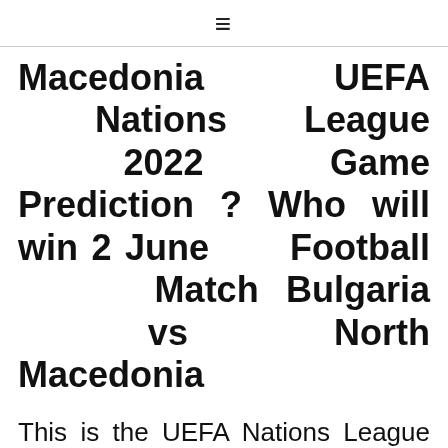≡
Macedonia UEFA Nations League 2022 Game Prediction ? Who will win 2 June Football Match Bulgaria vs North Macedonia
This is the UEFA Nations League 2022-23 game ahead of the biggest sporting events of UEFA Nations League 2022 soccer tournament. So this is the perfect opportunity for the players to show some of